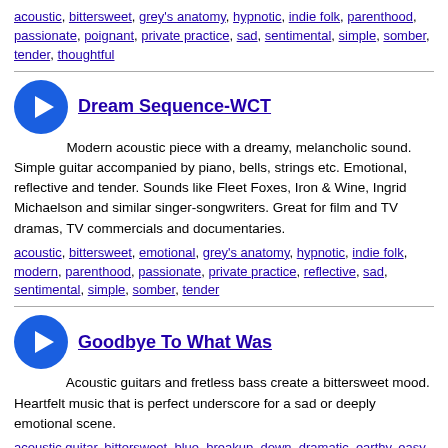acoustic, bittersweet, grey's anatomy, hypnotic, indie folk, parenthood, passionate, poignant, private practice, sad, sentimental, simple, somber, tender, thoughtful
Dream Sequence-WCT
Modern acoustic piece with a dreamy, melancholic sound. Simple guitar accompanied by piano, bells, strings etc. Emotional, reflective and tender. Sounds like Fleet Foxes, Iron & Wine, Ingrid Michaelson and similar singer-songwriters. Great for film and TV dramas, TV commercials and documentaries.
acoustic, bittersweet, emotional, grey's anatomy, hypnotic, indie folk, modern, parenthood, passionate, private practice, reflective, sad, sentimental, simple, somber, tender
Goodbye To What Was
Acoustic guitars and fretless bass create a bittersweet mood. Heartfelt music that is perfect underscore for a sad or deeply emotional scene.
acoustic guitar, bittersweet, blue, breakup, down, dramatic, earthy, easy, emotion, emotional, fretless bass, goodbyes, heartbroken, heartening, heartfelt, heartwarming, longing, melancholic,